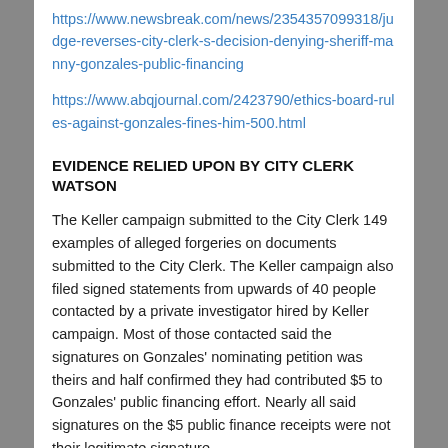https://www.newsbreak.com/news/2354357099318/judge-reverses-city-clerk-s-decision-denying-sheriff-manny-gonzales-public-financing
https://www.abqjournal.com/2423790/ethics-board-rules-against-gonzales-fines-him-500.html
EVIDENCE RELIED UPON BY CITY CLERK WATSON
The Keller campaign submitted to the City Clerk 149 examples of alleged forgeries on documents submitted to the City Clerk. The Keller campaign also filed signed statements from upwards of 40 people contacted by a private investigator hired by Keller campaign. Most of those contacted said the signatures on Gonzales' nominating petition was theirs and half confirmed they had contributed $5 to Gonzales' public financing effort. Nearly all said signatures on the $5 public finance receipts were not their legitimate signature.
The Gonzales campaign denied all wrongdoing and